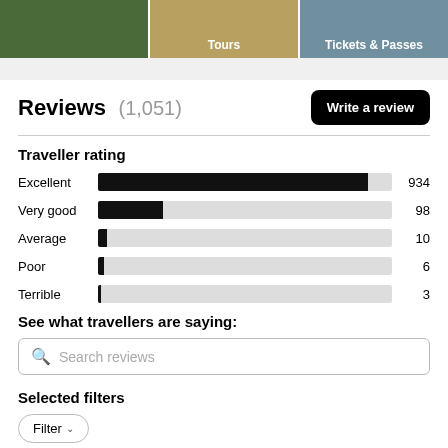[Figure (photo): Three navigation category images at top: outdoor/nature photo, Tours photo, Tickets & Passes photo]
Reviews (1,051)
Traveller rating
[Figure (bar-chart): Traveller rating]
See what travellers are saying:
Search reviews
Selected filters
Filter